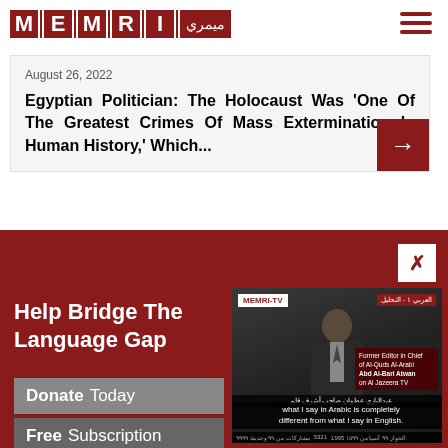[Figure (logo): MEMRI logo with red letter tiles and Arabic text]
August 26, 2022
Egyptian Politician: The Holocaust Was 'One Of The Greatest Crimes Of Mass Extermination In Human History,' Which...
[Figure (screenshot): MEMRI-TV video screenshot showing a man in a suit speaking, with subtitle: 'what I say in Arabic is completely different from what I say in English.']
Help Bridge The Language Gap
Donate Today
Free Subscription